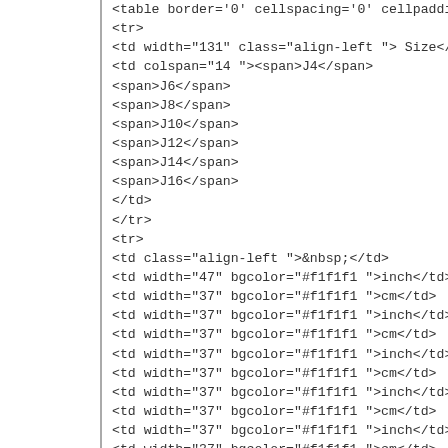<table border='0' cellspacing='0' cellpadding='0
<tr>
<td width="131" class="align-left "> Size</td>
<td colspan="14 "><span>J4</span>
<span>J6</span>
<span>J8</span>
<span>J10</span>
<span>J12</span>
<span>J14</span>
<span>J16</span>
</td>
</tr>
<tr>
<td class="align-left ">&nbsp;</td>
<td width="47" bgcolor="#f1f1f1 ">inch</td>
<td width="37" bgcolor="#f1f1f1 ">cm</td>
<td width="37" bgcolor="#f1f1f1 ">inch</td>
<td width="37" bgcolor="#f1f1f1 ">cm</td>
<td width="37" bgcolor="#f1f1f1 ">inch</td>
<td width="37" bgcolor="#f1f1f1 ">cm</td>
<td width="37" bgcolor="#f1f1f1 ">inch</td>
<td width="37" bgcolor="#f1f1f1 ">cm</td>
<td width="37" bgcolor="#f1f1f1 ">inch</td>
<td width="37" bgcolor="#f1f1f1 ">cm</td>
<td width="37" bgcolor="#f1f1f1 ">inch</td>